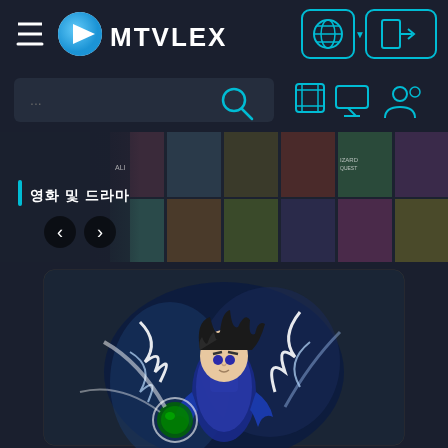[Figure (screenshot): MTVLEX streaming website header with logo, hamburger menu, globe/language selector and login button]
[Figure (screenshot): Search bar with ellipsis placeholder and cyan search icon, plus filter icons on the right]
[Figure (screenshot): Banner section with cyan-bar label showing Korean text, left/right navigation arrows, and a grid of movie poster thumbnails]
[Figure (screenshot): Anime character (Dragon Ball style Gohan/Vegeta) with glowing energy aura in blue/white, shown in a rounded card]